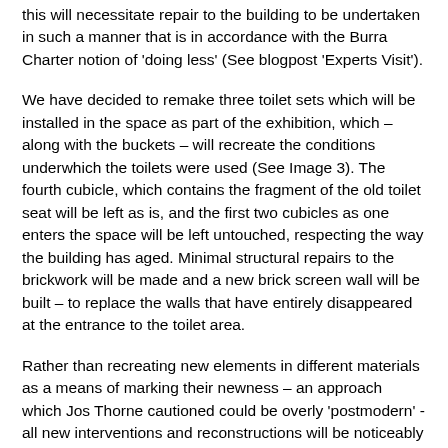this will necessitate repair to the building to be undertaken in such a manner that is in accordance with the Burra Charter notion of 'doing less' (See blogpost 'Experts Visit').
We have decided to remake three toilet sets which will be installed in the space as part of the exhibition, which – along with the buckets – will recreate the conditions underwhich the toilets were used (See Image 3). The fourth cubicle, which contains the fragment of the old toilet seat will be left as is, and the first two cubicles as one enters the space will be left untouched, respecting the way the building has aged. Minimal structural repairs to the brickwork will be made and a new brick screen wall will be built – to replace the walls that have entirely disappeared at the entrance to the toilet area.
Rather than recreating new elements in different materials as a means of marking their newness – an approach which Jos Thorne cautioned could be overly 'postmodern' - all new interventions and reconstructions will be noticeably new while containing a sense of authenticity and remaining faithful to the original materials used. So the materials for new elements used in the bucket system section area are